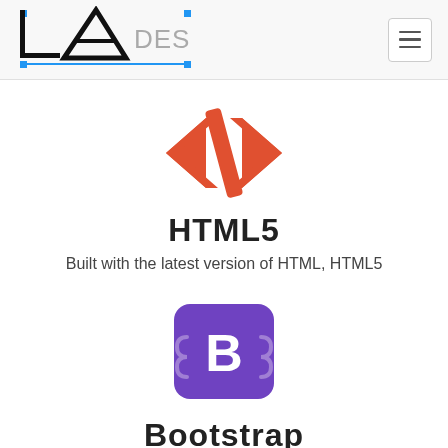[Figure (logo): LA Designs logo — black letters LA with blue corner dots and a horizontal line, followed by grey DESIGNS text]
[Figure (illustration): Hamburger menu icon — three horizontal lines inside a rounded rectangle button]
[Figure (illustration): HTML5 code icon — orange/red angle brackets with a forward slash: </> ]
HTML5
Built with the latest version of HTML, HTML5
[Figure (logo): Bootstrap logo — white B letter on a purple rounded square badge with decorative side brackets]
Bootstrap